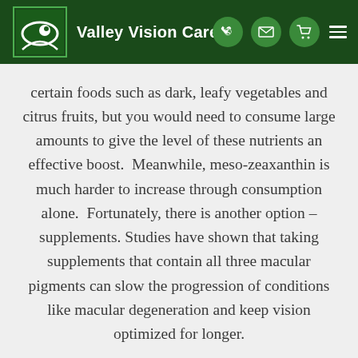Valley Vision Care
certain foods such as dark, leafy vegetables and citrus fruits, but you would need to consume large amounts to give the level of these nutrients an effective boost.  Meanwhile, meso-zeaxanthin is much harder to increase through consumption alone.  Fortunately, there is another option – supplements. Studies have shown that taking supplements that contain all three macular pigments can slow the progression of conditions like macular degeneration and keep vision optimized for longer.